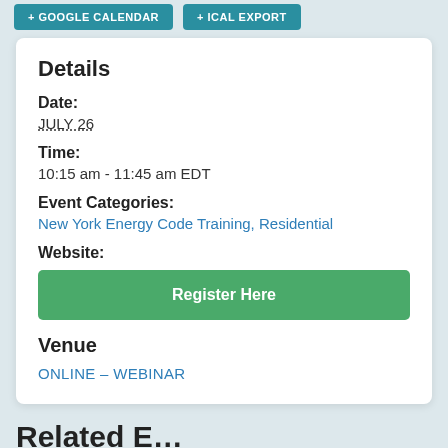+ GOOGLE CALENDAR   + ICAL EXPORT
Details
Date:
JULY 26
Time:
10:15 am - 11:45 am EDT
Event Categories:
New York Energy Code Training, Residential
Website:
Register Here
Venue
ONLINE – WEBINAR
Related E…